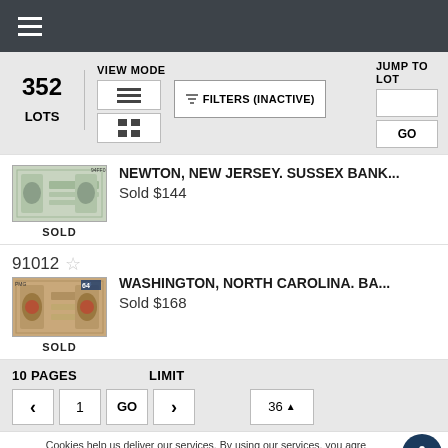≡ (hamburger menu)
352 LOTS  VIEW MODE  JUMP TO LOT  FILTERS (INACTIVE)  GO
NEWTON, NEW JERSEY. SUSSEX BANK...
Sold $144
SOLD
91012 ☆
WASHINGTON, NORTH CAROLINA. BA...
Sold $168
SOLD
10 PAGES   LIMIT
< 1 GO > 36▲
Cookies help us deliver our services. By using our services, you agree to our use of cookies. DISMISS Learn more.